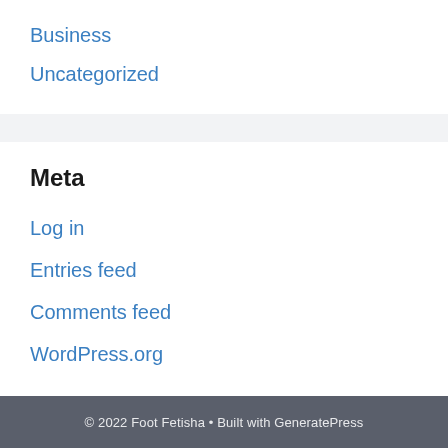Business
Uncategorized
Meta
Log in
Entries feed
Comments feed
WordPress.org
© 2022 Foot Fetisha • Built with GeneratePress